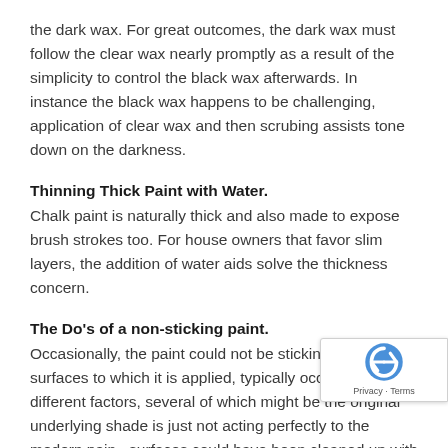the dark wax. For great outcomes, the dark wax must follow the clear wax nearly promptly as a result of the simplicity to control the black wax afterwards. In instance the black wax happens to be challenging, application of clear wax and then scrubing assists tone down on the darkness.
Thinning Thick Paint with Water.
Chalk paint is naturally thick and also made to expose brush strokes too. For house owners that favor slim layers, the addition of water aids solve the thickness concern.
The Do's of a non-sticking paint.
Occasionally, the paint could not be sticking to the surfaces to which it is applied, typically occurs due to different factors, several of which might be the original underlying shade is just not acting perfectly to the modern paint surfaces could have been cleaned up with representatives that do not handle new paint.